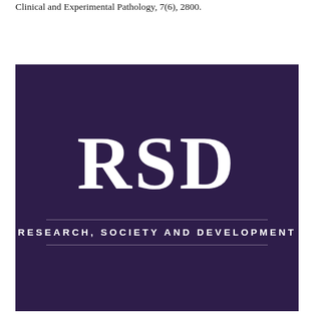Clinical and Experimental Pathology, 7(6), 2800.
[Figure (logo): RSD logo on dark purple background. Large white serif letters 'RSD' centered, with two thin horizontal divider lines flanking the text 'RESEARCH, SOCIETY AND DEVELOPMENT' in white uppercase spaced lettering below.]